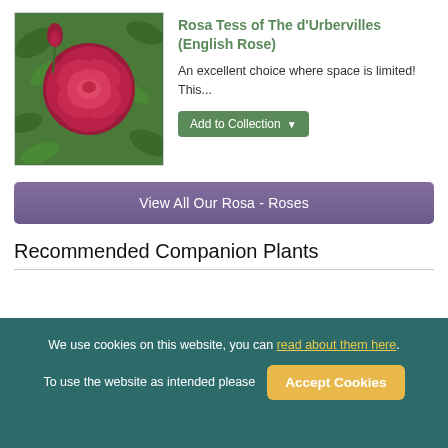[Figure (photo): Close-up photo of a deep red/crimson English rose bloom with green foliage background, shown alongside product info for Rosa Tess of The d'Urbervilles]
Rosa Tess of The d'Urbervilles (English Rose)
An excellent choice where space is limited! This...
Add to Collection
View All Our Rosa - Roses
Recommended Companion Plants
We use cookies on this website, you can read about them here. To use the website as intended please  Accept Cookies